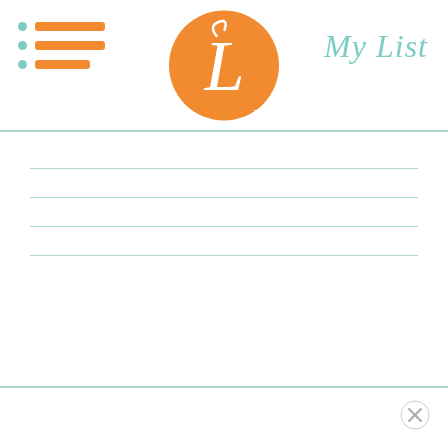[Figure (logo): Orange circle logo with white cursive letter L and TM mark]
My List
bullet item 1
bullet item 2
bullet item 3
(ruled lines for writing)